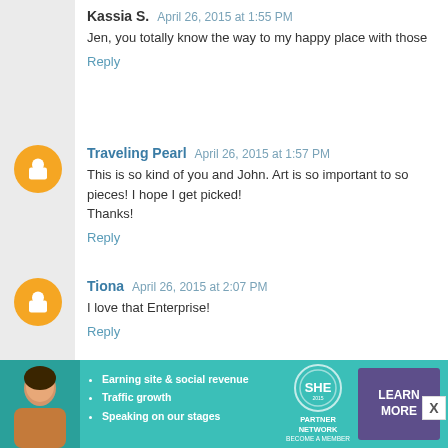Kassia S. April 26, 2015 at 1:55 PM
Jen, you totally know the way to my happy place with those
Reply
Traveling Pearl April 26, 2015 at 1:57 PM
This is so kind of you and John. Art is so important to so... pieces! I hope I get picked!
Thanks!
Reply
Tiona April 26, 2015 at 2:07 PM
I love that Enterprise!
Reply
Nikki April 26, 2015 at 2:13 PM
I have a 6 and a half month old baby girl whom I'm already... as well as an understanding that her gender doesn't defin... thing ever) and dinosaur sheets and I think the baby W
[Figure (infographic): SHE Partner Network advertisement banner with teal background, photo of woman, bullet points about earning site & social revenue, traffic growth, speaking on stages, SHE logo with PARTNER NETWORK BECOME A MEMBER text, and LEARN MORE button]